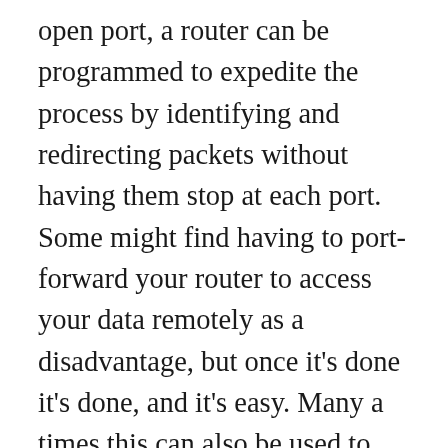open port, a router can be programmed to expedite the process by identifying and redirecting packets without having them stop at each port. Some might find having to port-forward your router to access your data remotely as a disadvantage, but once it's done it's done, and it's easy. Many a times this can also be used to test whether your ISP is blocking specific port or a particular server is up and running or not. Recommended - Our free program will setup a static IP address for you. Monday-Friday, 7:30AM to 4:30PM PT. The feature can help you access the network for many different reasons. Redefined. Designed to meet the needs of a growing business, the TotalPass Biometric with newly